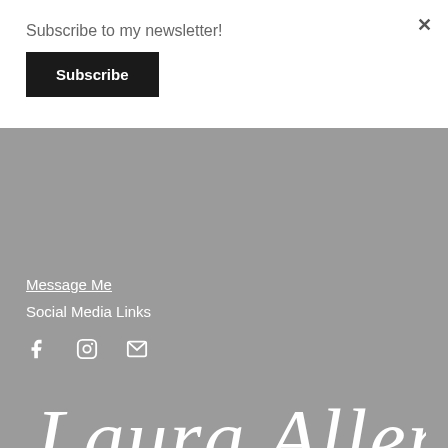Subscribe to my newsletter!
Subscribe
×
Message Me
Social Media Links
[Figure (other): Social media icons: Facebook (f), Instagram (camera), Email (envelope)]
[Figure (other): Cursive signature logo reading 'Laura Allen' in white script on gray background]
© COPYRIGHT 2017. ALL RIGHTS RESERVED.